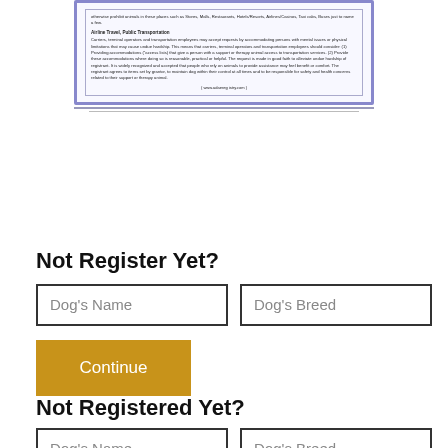[Figure (illustration): A certificate document with decorative blue border containing text about airline travel and public transportation accommodations for support/therapy animals. Footer shows www.adaer egistry.com]
Not Register Yet?
Dog's Name (input field)
Dog's Breed (input field)
Continue (button)
Not Registered Yet?
Dog's Name (input field)
Dog's Breed (input field)